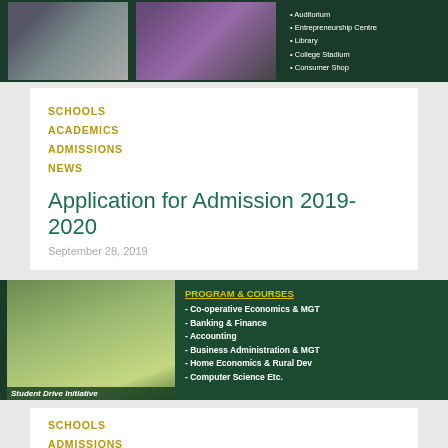[Figure (photo): Top banner with dark green background, two photos (students group and auditorium seats), and bullet list of facilities including Auditorium, Entrepreneurship Centre, Library, College Stadium, Consumer Shop]
SCHOOLS
ACADEMICS
ADMISSIONS
NEWS
Application for Admission 2019-2020
September 28, 2019
[Figure (photo): Student Drive Initiative photo showing students outdoors reading, beside a dark green panel listing Program & Courses: Co-operative Economics & MGT, Banking & Finance, Accounting, Business Administration & MGT, Home Economics & Rural Dev, Computer Science Etc.]
SCHOOLS
ADMISSIONS
NEWS